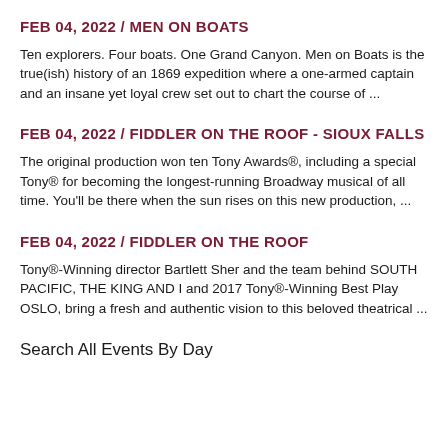FEB 04, 2022 / MEN ON BOATS
Ten explorers. Four boats. One Grand Canyon. Men on Boats is the true(ish) history of an 1869 expedition where a one-armed captain and an insane yet loyal crew set out to chart the course of ...
FEB 04, 2022 / FIDDLER ON THE ROOF - SIOUX FALLS
The original production won ten Tony Awards®, including a special Tony® for becoming the longest-running Broadway musical of all time. You'll be there when the sun rises on this new production, ...
FEB 04, 2022 / FIDDLER ON THE ROOF
Tony®-Winning director Bartlett Sher and the team behind SOUTH PACIFIC, THE KING AND I and 2017 Tony®-Winning Best Play OSLO, bring a fresh and authentic vision to this beloved theatrical ...
Search All Events By Day